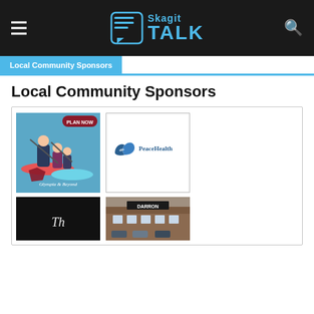Skagit TALK
Local Community Sponsors
Local Community Sponsors
[Figure (photo): Kayaking family on water with 'Plan Now' badge and 'Experience Olympia & Beyond' branding]
[Figure (logo): PeaceHealth logo with dove icon and text 'PeaceHealth']
[Figure (photo): Sponsor ad on dark background with cursive text]
[Figure (photo): Darron sponsor building exterior photo]